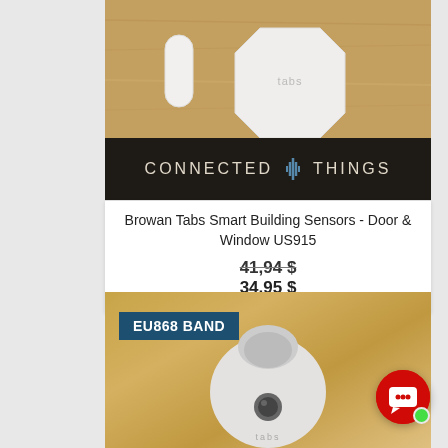[Figure (photo): Photo of Browan Tabs Smart Building Sensors - two white sensor pieces on a wooden surface, with Connected Things branding at the bottom of the image]
Browan Tabs Smart Building Sensors - Door & Window US915
41,94 $
34,95 $
[Figure (photo): Photo of a white rounded smart sensor device with EU868 BAND badge overlay in the top left corner]